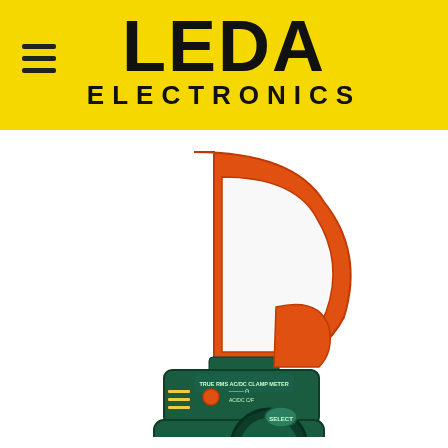[Figure (logo): LEDA Electronics logo on yellow background with hamburger menu icon]
[Figure (photo): Extech 38389 True RMS AC/DC Clamp Meter with orange clamp jaw, dark green body, rotary selector dial, LCD display showing 399.9, and ZERO/OFF controls]